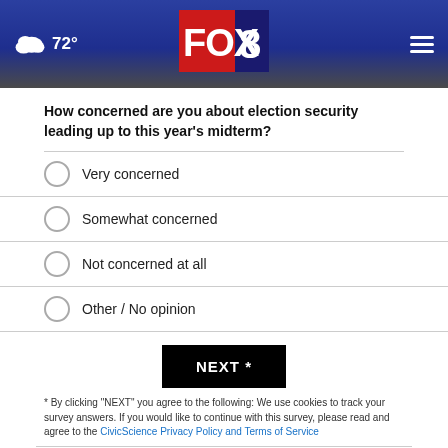FOX 8 — 72° weather, navigation header
How concerned are you about election security leading up to this year's midterm?
Very concerned
Somewhat concerned
Not concerned at all
Other / No opinion
NEXT *
* By clicking "NEXT" you agree to the following: We use cookies to track your survey answers. If you would like to continue with this survey, please read and agree to the CivicScience Privacy Policy and Terms of Service
TOP STORIES ›
[Figure (screenshot): Dark video thumbnail with white play button]